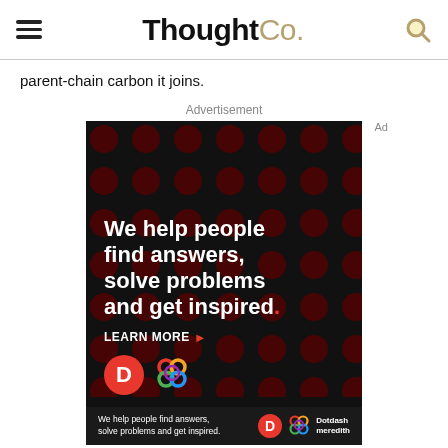ThoughtCo.
parent-chain carbon it joins.
Advertisement
[Figure (screenshot): ThoughtCo / Dotdash Meredith advertisement: black background with dark red dot pattern, white bold text reading 'We help people find answers, solve problems and get inspired.' with a red period, 'LEARN MORE' with arrow, Dotdash D logo in red circle, and Dotdash Meredith colorful knot logo.]
[Figure (screenshot): Small banner ad bar in dark background: 'We help people find answers, solve problems and get inspired.' with Dotdash D logo and Dotdash Meredith logo and text.]